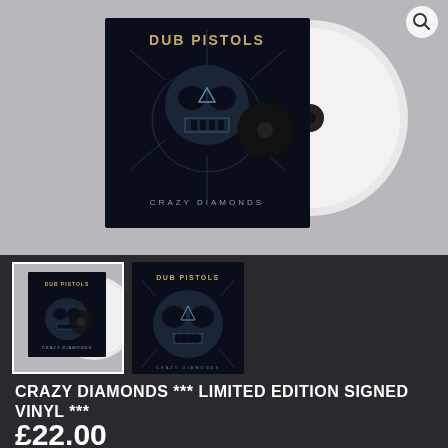[Figure (photo): Dub Pistols Crazy Diamonds album cover with white limited edition vinyl record. Dark album art featuring a skull with geometric/galaxy design, shown alongside a white vinyl disc on a grey background.]
[Figure (photo): Thumbnail 1: Small version of the Dub Pistols Crazy Diamonds vinyl product photo, selected (white border highlighted).]
[Figure (photo): Thumbnail 2: Small version of the Dub Pistols Crazy Diamonds album cover art close-up, dark skull design.]
CRAZY DIAMONDS *** LIMITED EDITION SIGNED VINYL ***
£22.00